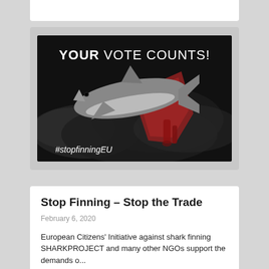[Figure (photo): Dark background campaign image showing a shark with red fins/blood, with text 'YOUR VOTE COUNTS!' in bold white uppercase and '#stopfinningEU' in white italic-style text at the bottom left. Anti-shark-finning campaign graphic.]
Stop Finning – Stop the Trade
February 6, 2020
European Citizens' Initiative against shark finning SHARKPROJECT and many other NGOs support the demands o...